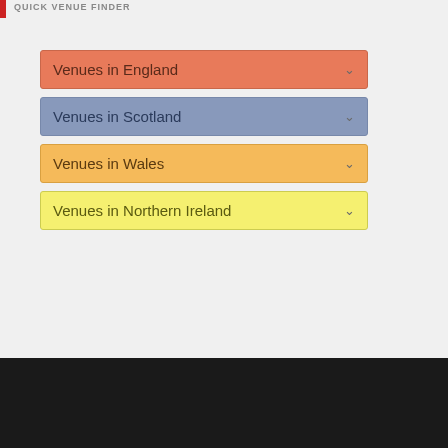QUICK VENUE FINDER
Venues in England
Venues in Scotland
Venues in Wales
Venues in Northern Ireland
Google serves cookies to analyse traffic to this site and to serve relevant ads. Details
No problem